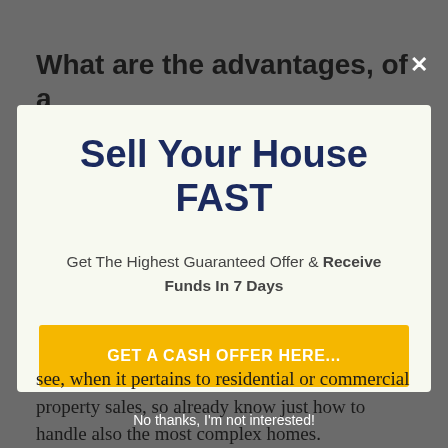What are the advantages, of a
[Figure (screenshot): Modal popup with 'Sell Your House FAST' headline, subtext about getting highest guaranteed offer and receiving funds in 7 days, and a yellow CTA button 'GET A CASH OFFER HERE...']
see, when it pertains to residential or commercial property sales, so already know just how to handle also the most complex homes.
No thanks, I'm not interested!